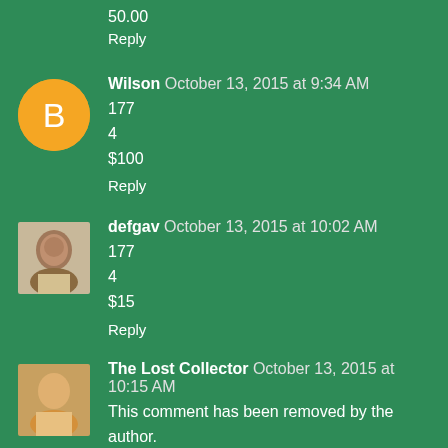50.00
Reply
Wilson October 13, 2015 at 9:34 AM
177
4
$100
Reply
defgav October 13, 2015 at 10:02 AM
177
4
$15
Reply
The Lost Collector October 13, 2015 at 10:15 AM
This comment has been removed by the author.